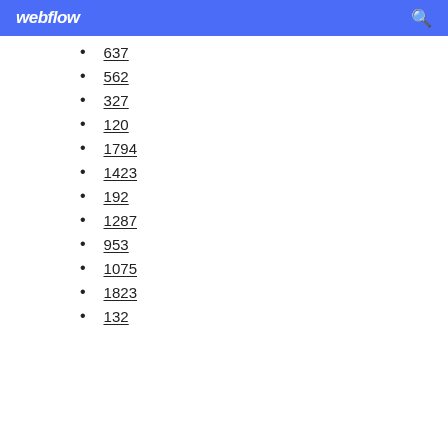webflow
637
562
327
120
1794
1423
192
1287
953
1075
1823
132